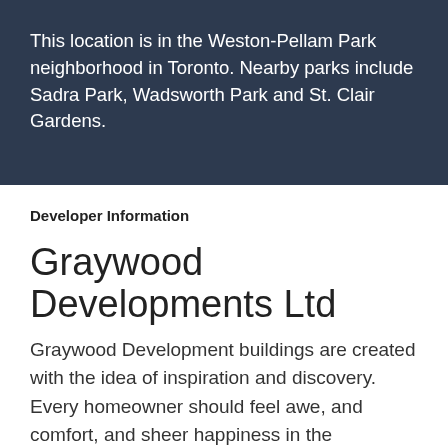This location is in the Weston-Pellam Park neighborhood in Toronto. Nearby parks include Sadra Park, Wadsworth Park and St. Clair Gardens.
Developer Information
Graywood Developments Ltd
Graywood Development buildings are created with the idea of inspiration and discovery. Every homeowner should feel awe, and comfort, and sheer happiness in the